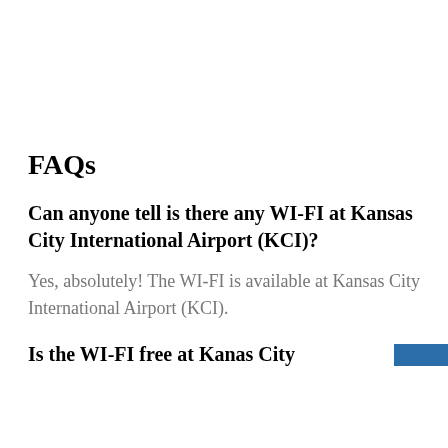FAQs
Can anyone tell is there any WI-FI at Kansas City International Airport (KCI)?
Yes, absolutely! The WI-FI is available at Kansas City International Airport (KCI).
Is the WI-FI free at Kanas City